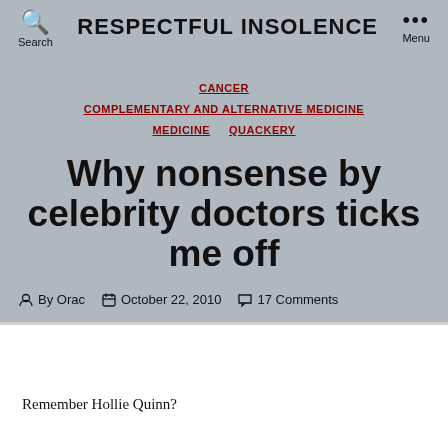RESPECTFUL INSOLENCE
CANCER
COMPLEMENTARY AND ALTERNATIVE MEDICINE
MEDICINE  QUACKERY
Why nonsense by celebrity doctors ticks me off
By Orac  October 22, 2010  17 Comments
Remember Hollie Quinn?